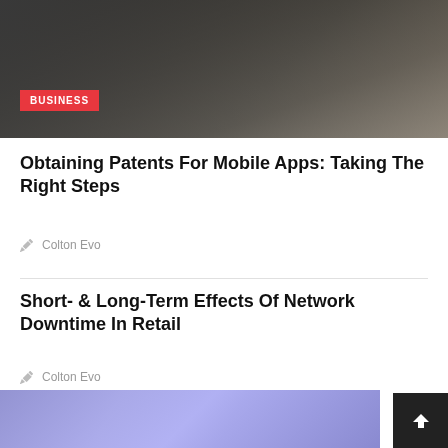[Figure (photo): Dark overhead photo of hands typing on a laptop keyboard on a desk, with a BUSINESS category label overlay]
Obtaining Patents For Mobile Apps: Taking The Right Steps
Colton Evo
Short- & Long-Term Effects Of Network Downtime In Retail
Colton Evo
[Figure (other): Loading spinner (circle) graphic]
LATEST POSTS
[Figure (photo): Blue/purple toned abstract technology background image strip at bottom]